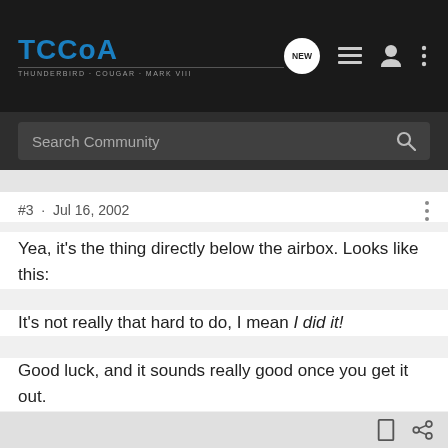TCCoA - THUNDERBIRD · COUGAR · MARK VIII
Search Community
#3 · Jul 16, 2002
Yea, it's the thing directly below the airbox. Looks like this:
It's not really that hard to do, I mean I did it!
Good luck, and it sounds really good once you get it out.
Something Newer...